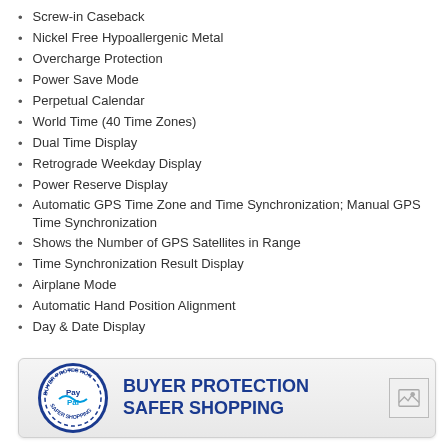Screw-in Caseback
Nickel Free Hypoallergenic Metal
Overcharge Protection
Power Save Mode
Perpetual Calendar
World Time (40 Time Zones)
Dual Time Display
Retrograde Weekday Display
Power Reserve Display
Automatic GPS Time Zone and Time Synchronization; Manual GPS Time Synchronization
Shows the Number of GPS Satellites in Range
Time Synchronization Result Display
Airplane Mode
Automatic Hand Position Alignment
Day & Date Display
[Figure (logo): PayPal Buyer Protection - Safer Shopping banner with PayPal circular badge logo and bold blue text reading BUYER PROTECTION SAFER SHOPPING]